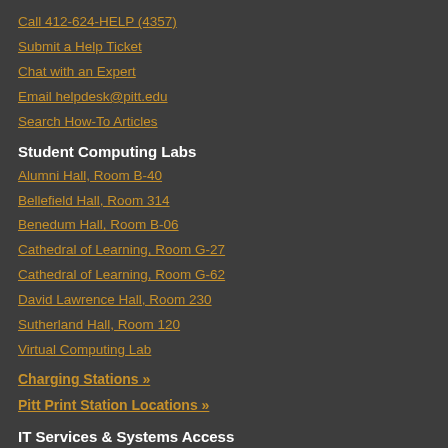Call 412-624-HELP (4357)
Submit a Help Ticket
Chat with an Expert
Email helpdesk@pitt.edu
Search How-To Articles
Student Computing Labs
Alumni Hall, Room B-40
Bellefield Hall, Room 314
Benedum Hall, Room B-06
Cathedral of Learning, Room G-27
Cathedral of Learning, Room G-62
David Lawrence Hall, Room 230
Sutherland Hall, Room 120
Virtual Computing Lab
Charging Stations »
Pitt Print Station Locations »
IT Services & Systems Access
Accounts Self-Service